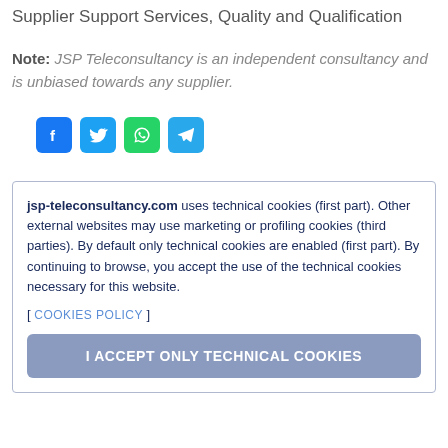Supplier Support Services, Quality and Qualification
Note: JSP Teleconsultancy is an independent consultancy and is unbiased towards any supplier.
[Figure (infographic): Social media sharing icons: Facebook (blue), Twitter (light blue), WhatsApp (green), Telegram (blue)]
jsp-teleconsultancy.com uses technical cookies (first part). Other external websites may use marketing or profiling cookies (third parties). By default only technical cookies are enabled (first part). By continuing to browse, you accept the use of the technical cookies necessary for this website.
[ COOKIES POLICY ]
I ACCEPT ONLY TECHNICAL COOKIES